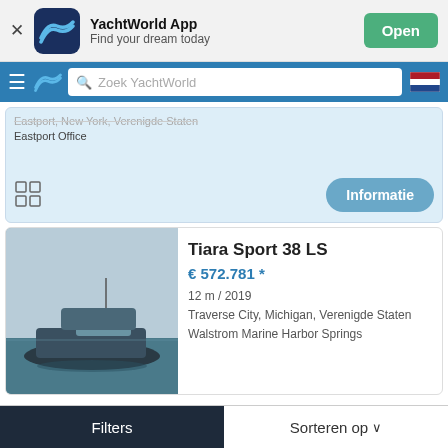[Figure (screenshot): YachtWorld App banner with dark navy icon showing a wave logo, app name, tagline, and green Open button]
[Figure (screenshot): Navigation bar with hamburger menu, YachtWorld wave logo, search bar reading Zoek YachtWorld, and Dutch flag icon]
Eastport Office
[Figure (illustration): Light blue card section with partial location text, grid icon at bottom left, and Informatie button at bottom right]
Tiara Sport 38 LS
€ 572.781 *
12 m / 2019
Traverse City, Michigan, Verenigde Staten
Walstrom Marine Harbor Springs
[Figure (photo): Photo of a Tiara Sport 38 LS motorboat on calm water with overcast sky]
Filters
Sorteren op ∨